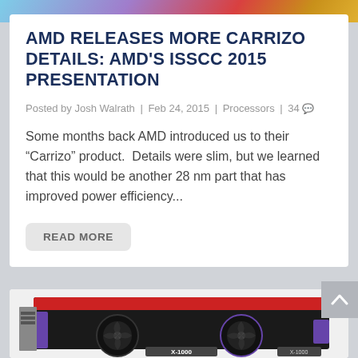[Figure (photo): Colorful header image strip at the top of the page]
AMD RELEASES MORE CARRIZO DETAILS: AMD'S ISSCC 2015 PRESENTATION
Posted by Josh Walrath | Feb 24, 2015 | Processors | 34
Some months back AMD introduced us to their “Carrizo” product.  Details were slim, but we learned that this would be another 28 nm part that has improved power efficiency...
READ MORE
[Figure (photo): Photo of a gaming graphics card (GPU) with dual fans, black and red design with purple accents, labeled X-1000]